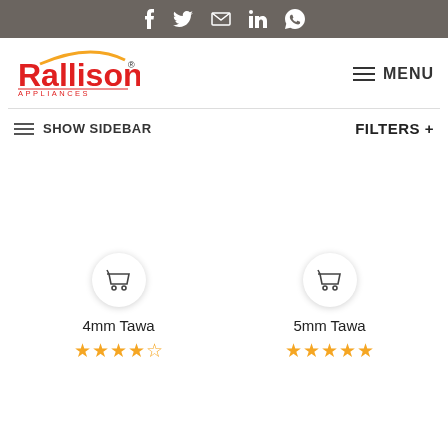Social icons bar: Facebook, Twitter, Email, LinkedIn, WhatsApp
[Figure (logo): Rallison Appliances logo — red text with orange arc above]
MENU
SHOW SIDEBAR
FILTERS +
4mm Tawa
5mm Tawa